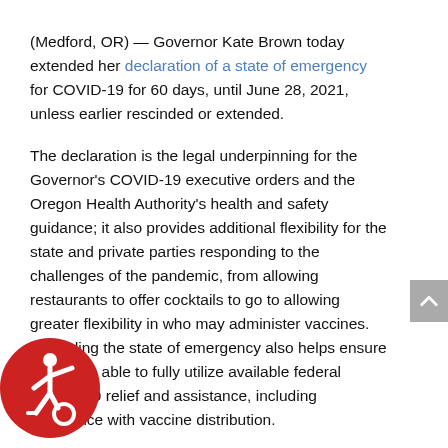(Medford, OR) — Governor Kate Brown today extended her declaration of a state of emergency for COVID-19 for 60 days, until June 28, 2021, unless earlier rescinded or extended.
The declaration is the legal underpinning for the Governor's COVID-19 executive orders and the Oregon Health Authority's health and safety guidance; it also provides additional flexibility for the state and private parties responding to the challenges of the pandemic, from allowing restaurants to offer cocktails to go to allowing greater flexibility in who may administer vaccines. Extending the state of emergency also helps ensure Oregon is able to fully utilize available federal COVID-19 relief and assistance, including assistance with vaccine distribution.
[Figure (logo): Red circular accessibility icon with white wheelchair user symbol]